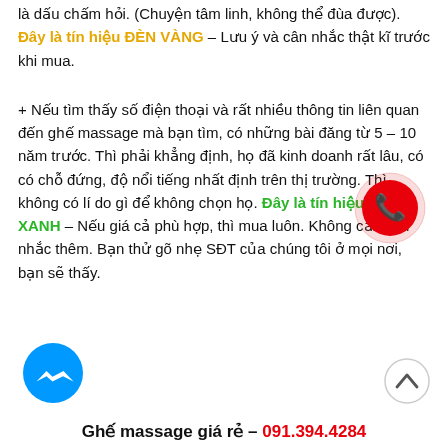là dấu chấm hỏi. (Chuyện tâm linh, không thể đùa được). Đây là tín hiệu ĐÈN VÀNG – Lưu ý và cân nhắc thật kĩ trước khi mua.
+ Nếu tìm thấy số điện thoại và rất nhiều thông tin liên quan đến ghế massage mà bạn tìm, có những bài đăng từ 5 – 10 năm trước. Thì phải khẳng định, họ đã kinh doanh rất lâu, có có chỗ đứng, độ nổi tiếng nhất định trên thị trường. Thì không có lí do gì để không chọn họ. Đây là tín hiệu ĐÈN XANH – Nếu giá cả phù hợp, thì mua luôn. Không cần cân nhắc thêm. Bạn thử gõ nhẹ SĐT của chúng tôi ở mọi nơi, bạn sẽ thấy.
[Figure (illustration): Red phone icon circle (contact button)]
[Figure (illustration): Blue Messenger icon circle]
[Figure (illustration): Up arrow circle button]
Ghế massage giá rẻ – 091.394.4284